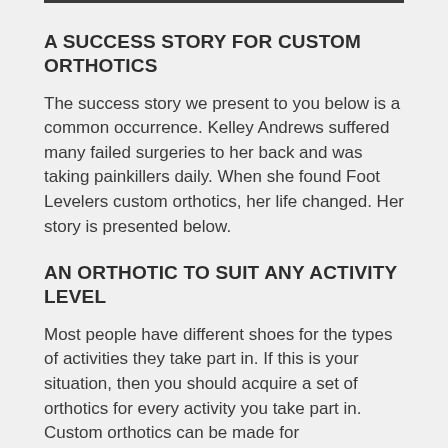A SUCCESS STORY FOR CUSTOM ORTHOTICS
The success story we present to you below is a common occurrence. Kelley Andrews suffered many failed surgeries to her back and was taking painkillers daily. When she found Foot Levelers custom orthotics, her life changed. Her story is presented below.
AN ORTHOTIC TO SUIT ANY ACTIVITY LEVEL
Most people have different shoes for the types of activities they take part in. If this is your situation, then you should acquire a set of orthotics for every activity you take part in. Custom orthotics can be made for